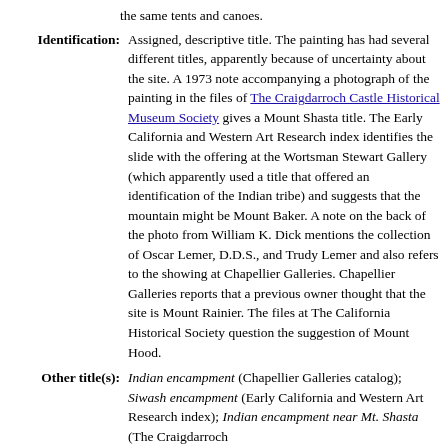the same tents and canoes.
Identification: Assigned, descriptive title. The painting has had several different titles, apparently because of uncertainty about the site. A 1973 note accompanying a photograph of the painting in the files of The Craigdarroch Castle Historical Museum Society gives a Mount Shasta title. The Early California and Western Art Research index identifies the slide with the offering at the Wortsman Stewart Gallery (which apparently used a title that offered an identification of the Indian tribe) and suggests that the mountain might be Mount Baker. A note on the back of the photo from William K. Dick mentions the collection of Oscar Lemer, D.D.S., and Trudy Lemer and also refers to the showing at Chapellier Galleries. Chapellier Galleries reports that a previous owner thought that the site is Mount Rainier. The files at The California Historical Society question the suggestion of Mount Hood.
Other title(s): Indian encampment (Chapellier Galleries catalog); Siwash encampment (Early California and Western Art Research index); Indian encampment near Mt. Shasta (The Craigdarroch